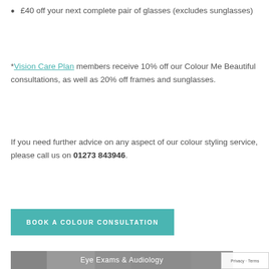£40 off your next complete pair of glasses (excludes sunglasses)
*Vision Care Plan members receive 10% off our Colour Me Beautiful consultations, as well as 20% off frames and sunglasses.
If you need further advice on any aspect of our colour styling service, please call us on 01273 843946.
[Figure (other): Teal/green button labeled BOOK A COLOUR CONSULTATION]
[Figure (photo): Greyscale photo of optometry/phoropter equipment with overlay text 'Eye Exams & Audiology']